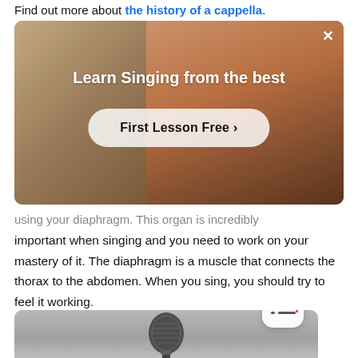Find out more about the history of a cappella.
[Figure (photo): Advertisement banner showing a person singing with arms outstretched, with text 'Learn Singing from the best' and a 'First Lesson Free >' button]
using your diaphragm. This organ is incredibly important when singing and you need to work on your mastery of it. The diaphragm is a muscle that connects the thorax to the abdomen. When you sing, you should try to feel it working.
[Figure (photo): Black and white photograph of a microphone on a stand]